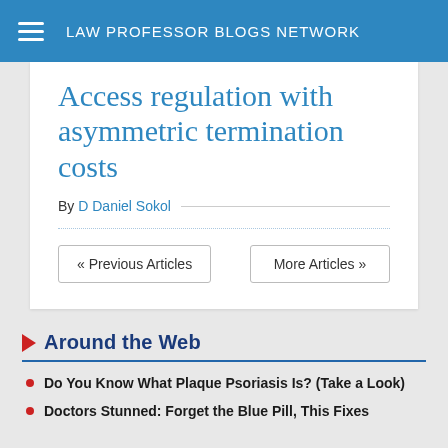LAW PROFESSOR BLOGS NETWORK
Access regulation with asymmetric termination costs
By D Daniel Sokol
« Previous Articles    More Articles »
Around the Web
Do You Know What Plaque Psoriasis Is? (Take a Look)
Doctors Stunned: Forget the Blue Pill, This Fixes